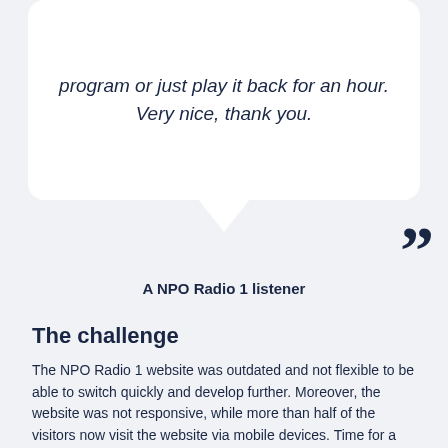program or just play it back for an hour. Very nice, thank you.
A NPO Radio 1 listener
The challenge
The NPO Radio 1 website was outdated and not flexible to be able to switch quickly and develop further. Moreover, the website was not responsive, while more than half of the visitors now visit the website via mobile devices. Time for a major renovation!
Analysis and wireframes
Building a perfect website in a complex infrastructure